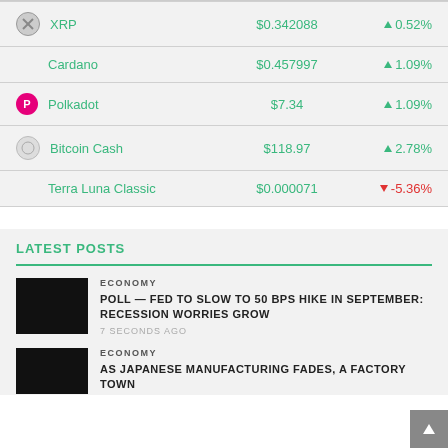| Coin | Price | Change |
| --- | --- | --- |
| XRP | $0.342088 | ↑ 0.52% |
| Cardano | $0.457997 | ↑ 1.09% |
| Polkadot | $7.34 | ↑ 1.09% |
| Bitcoin Cash | $118.97 | ↑ 2.78% |
| Terra Luna Classic | $0.000071 | ↓ -5.36% |
LATEST POSTS
ECONOMY
POLL — FED TO SLOW TO 50 BPS HIKE IN SEPTEMBER: RECESSION WORRIES GROW
7 SECONDS AGO
ECONOMY
AS JAPANESE MANUFACTURING FADES, A FACTORY TOWN